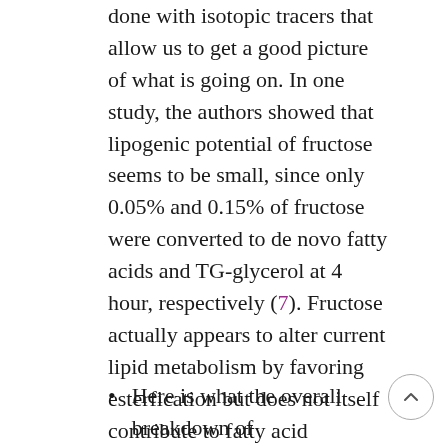done with isotopic tracers that allow us to get a good picture of what is going on. In one study, the authors showed that lipogenic potential of fructose seems to be small, since only 0.05% and 0.15% of fructose were converted to de novo fatty acids and TG-glycerol at 4 hour, respectively (7). Fructose actually appears to alter current lipid metabolism by favoring esterfication but does not itself contribute to fatty acid synthesis to any meaningful extent. I.e. the conversion of fructose to any lipid is almost meaningless at normal to slightly high intakes (0.75 g/kg)
Here is what the overall breakdown of